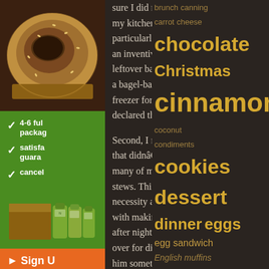[Figure (photo): Close-up photo of a bagel with sesame seeds and filling, viewed from above]
4-6 ful package
satisfa guara
cancel
[Figure (photo): Product boxes and green bags of natural food products]
► Sign U
NaTUR
sure I did more but these two graced my kitchen in one night and were particularly memorable. First, I found an inventive way to use the last of the leftover bagels from my brief stint as a bagel-baker. They had been in the freezer for weeks and Lee had declared them inedible.

Second, I made something in a pot that didn’t turn into chili, as do so many of my would-be soups and stews. This stew spawned from necessity and boredom. I was bored with making the same old things night after night and my dad was coming over for dinner so I wanted to serve him something somewhat special. Still, that special dish
brunch canning carrot cheese chocolate Christmas cinnamon coconut condiments cookies dessert dinner eggs egg sandwich English muffins fruit gadgets grandmother health healthy home lunch moving muffins nuts oats peanut butter pie pizza potatoes pudding pumpkin